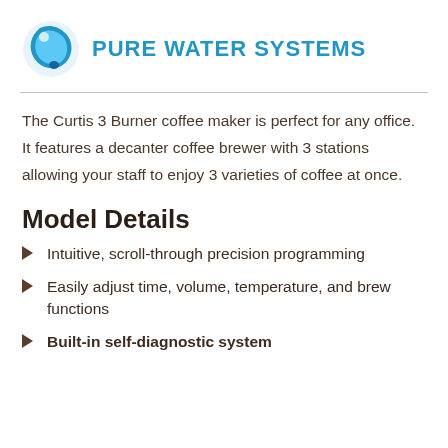[Figure (logo): Pure Water Systems logo with blue water droplet/swirl icon and blue bold uppercase text 'Pure Water Systems']
The Curtis 3 Burner coffee maker is perfect for any office. It features a decanter coffee brewer with 3 stations allowing your staff to enjoy 3 varieties of coffee at once.
Model Details
Intuitive, scroll-through precision programming
Easily adjust time, volume, temperature, and brew functions
Built-in self-diagnostic system